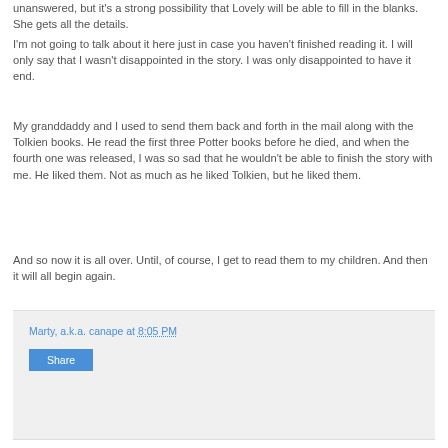unanswered, but it's a strong possibility that Lovely will be able to fill in the blanks. She gets all the details.
I'm not going to talk about it here just in case you haven't finished reading it. I will only say that I wasn't disappointed in the story. I was only disappointed to have it end.
My granddaddy and I used to send them back and forth in the mail along with the Tolkien books. He read the first three Potter books before he died, and when the fourth one was released, I was so sad that he wouldn't be able to finish the story with me. He liked them. Not as much as he liked Tolkien, but he liked them.
And so now it is all over. Until, of course, I get to read them to my children. And then it will all begin again.
Marty, a.k.a. canape at 8:05 PM | Share